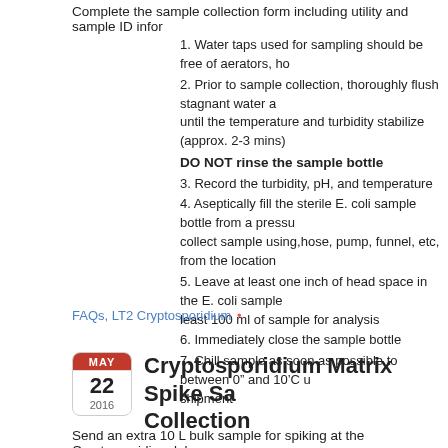Complete the sample collection form including utility and sample ID infor
1. Water taps used for sampling should be free of aerators, ho
2. Prior to sample collection, thoroughly flush stagnant water a until the temperature and turbidity stabilize (approx. 2-3 mins)
DO NOT rinse the sample bottle
3. Record the turbidity, pH, and temperature
4. Aseptically fill the sterile E. coli sample bottle from a pressu collect sample using,hose, pump, funnel, etc, from the location
5. Leave at least one inch of head space in the E. coli sample least 100 ml of sample for analysis
6. Immediately close the sample bottle
7. Chill sample as soon as possible to between 0” and 10’C u shipment
FAQs, LT2 Cryptosporidium •
Cryptosporidium Matrix Spike Sa Collection
Send an extra 10 L bulk sample for spiking at the Cryptosporidium labo